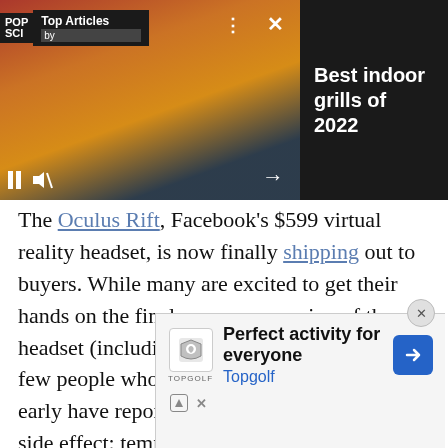[Figure (screenshot): Video player panel showing food skewers with citrus slices, with POP SCI Top Articles overlay, pause button, mute button, dots menu, close X, and right arrow controls]
Best indoor grills of 2022
The Oculus Rift, Facebook's $599 virtual reality headset, is now finally shipping out to buyers. While many are excited to get their hands on the final consumer version of the headset (including us at Popular Science), a few people who were lucky enough to get it early have reported a potentially embarrassing side effect: temporary red marks on their f[aces]
[Figure (screenshot): Topgolf advertisement overlay: Perfect activity for everyone - Topgolf, with shield logo and blue arrow button, and ad report icons]